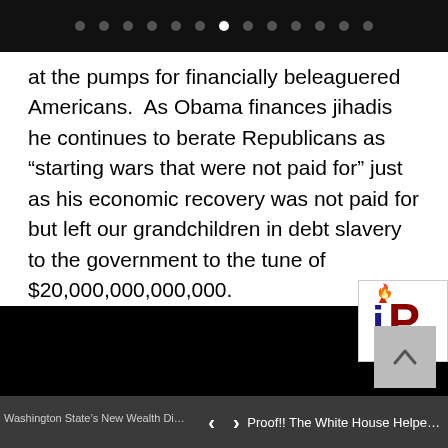navigation dots (slide indicator)
at the pumps for financially beleaguered Americans.  As Obama finances jihadis he continues to berate Republicans as “starting wars that were not paid for” just as his economic recovery was not paid for but left our grandchildren in debt slavery to the government to the tune of $20,000,000,000,000.
[Figure (logo): iP logo with flame icon above the letter i, red and dark blue colors]
Washington State’s New Wealth Di...    <   >   Proof!! The White House Helpe...